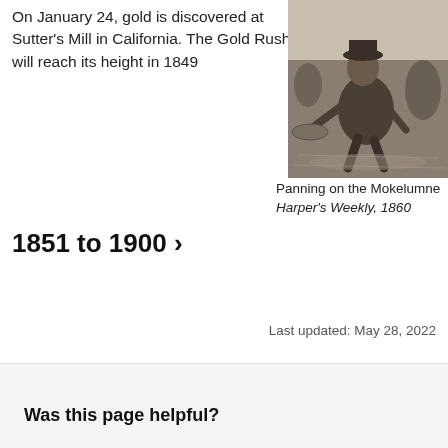On January 24, gold is discovered at Sutter's Mill in California. The Gold Rush will reach its height in 1849
[Figure (illustration): Black and white engraving of a man panning for gold on the Mokelumne River, from Harper's Weekly, 1860]
Panning on the Mokelumne
Harper's Weekly, 1860
1851 to 1900 ›
Last updated: May 28, 2022
Was this page helpful?